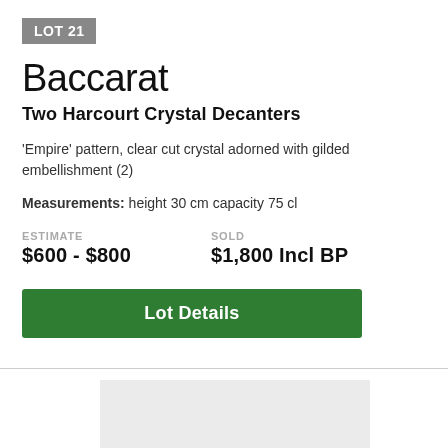LOT 21
Baccarat
Two Harcourt Crystal Decanters
'Empire' pattern, clear cut crystal adorned with gilded embellishment (2)
Measurements: height 30 cm capacity 75 cl
ESTIMATE
$600 - $800
SOLD
$1,800 Incl BP
Lot Details